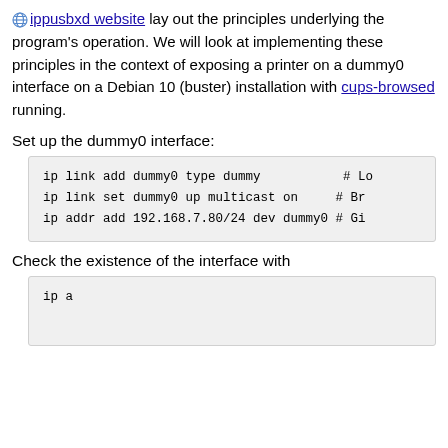ippusbxd website lay out the principles underlying the program's operation. We will look at implementing these principles in the context of exposing a printer on a dummy0 interface on a Debian 10 (buster) installation with cups-browsed running.
Set up the dummy0 interface:
ip link add dummy0 type dummy		# Lo
ip link set dummy0 up multicast on	# Br
ip addr add 192.168.7.80/24 dev dummy0 # Gi
Check the existence of the interface with
ip a